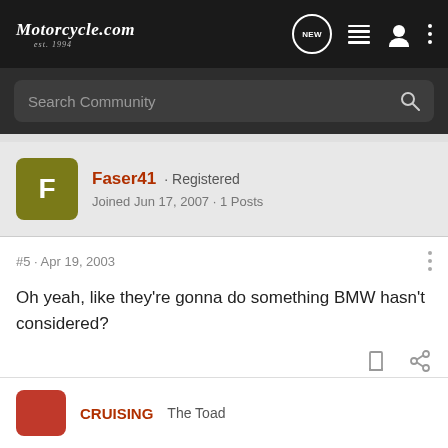Motorcycle.com est. 1994
Search Community
Faser41 · Registered
Joined Jun 17, 2007 · 1 Posts
#5 · Apr 19, 2003
Oh yeah, like they're gonna do something BMW hasn't considered?
CRUISING The Toad